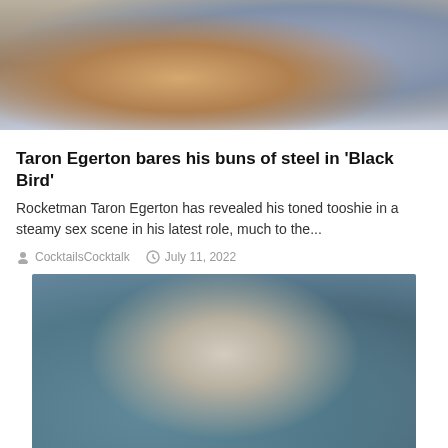[Figure (photo): Top portion of a photo showing a heavily tattooed person in a suit]
Taron Egerton bares his buns of steel in 'Black Bird'
Rocketman Taron Egerton has revealed his toned tooshie in a steamy sex scene in his latest role, much to the...
CocktailsCocktalk   July 11, 2022
[Figure (photo): Photo of a man with dark hair and beard in a sleeveless outfit against a teal/grey sculptural background]